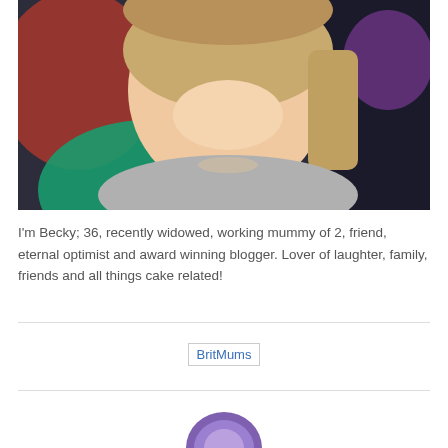[Figure (photo): Selfie photo of a smiling woman with blonde hair holding green and colorful balloons, with a red and dark background]
I'm Becky; 36, recently widowed, working mummy of 2, friend, eternal optimist and award winning blogger. Lover of laughter, family, friends and all things cake related!
[Figure (logo): BritMums logo/badge image link]
[Figure (logo): Circular badge/logo partially visible at bottom of page]